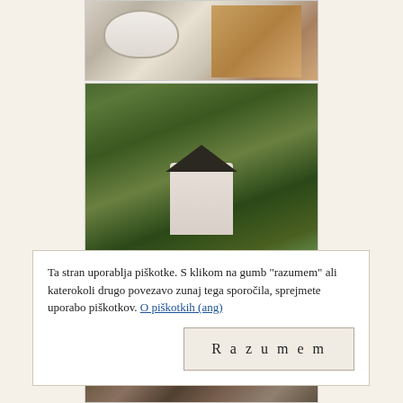[Figure (photo): Bathroom interior showing a bathtub and sink with wooden paneling]
[Figure (photo): Exterior view of a small white house surrounded by dense green forest trees]
[Figure (photo): Winter scene showing a small structure built into a rocky cliff with snow-covered trees]
Ta stran uporablja piškotke. S klikom na gumb "razumem" ali katerokoli drugo povezavo zunaj tega sporočila, sprejmete uporabo piškotkov. O piškotkih (ang)
[Figure (photo): Partial view of another outdoor nature photo at the bottom of the page]